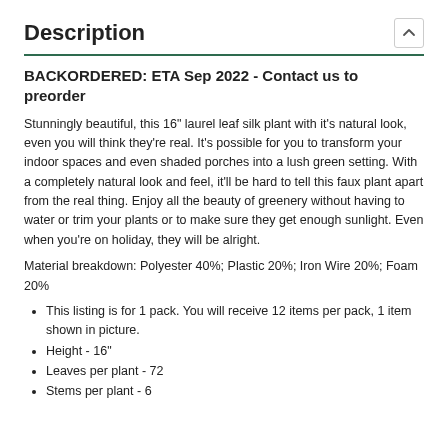Description
BACKORDERED: ETA Sep 2022 - Contact us to preorder
Stunningly beautiful, this 16" laurel leaf silk plant with it's natural look, even you will think they're real. It's possible for you to transform your indoor spaces and even shaded porches into a lush green setting. With a completely natural look and feel, it'll be hard to tell this faux plant apart from the real thing. Enjoy all the beauty of greenery without having to water or trim your plants or to make sure they get enough sunlight. Even when you're on holiday, they will be alright.
Material breakdown: Polyester 40%; Plastic 20%; Iron Wire 20%; Foam 20%
This listing is for 1 pack. You will receive 12 items per pack, 1 item shown in picture.
Height - 16"
Leaves per plant - 72
Stems per plant - 6